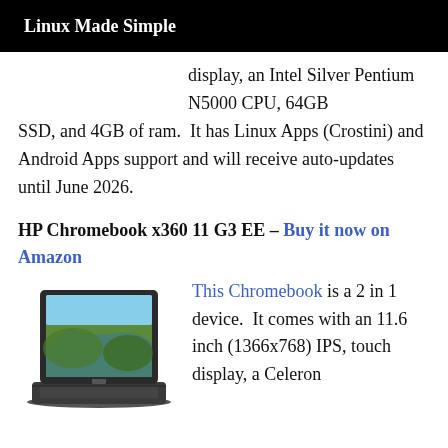Linux Made Simple
display, an Intel Silver Pentium N5000 CPU, 64GB SSD, and 4GB of ram.  It has Linux Apps (Crostini) and Android Apps support and will receive auto-updates until June 2026.
HP Chromebook x360 11 G3 EE – Buy it now on Amazon
[Figure (photo): HP Chromebook x360 11 G3 EE laptop photo showing the device open with a nature scene on screen]
This Chromebook is a 2 in 1 device.  It comes with an 11.6 inch (1366x768) IPS, touch display, a Celeron